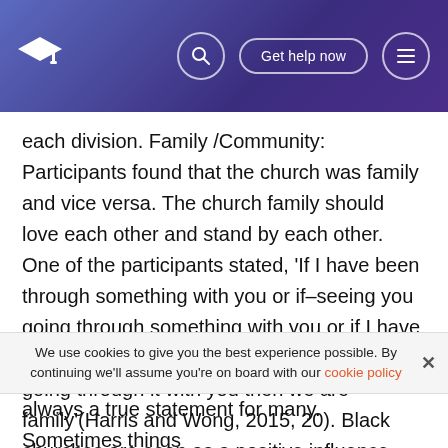Get help now
each division. Family /Community: Participants found that the church was family and vice versa. The church family should love each other and stand by each other. One of the participants stated, ‘If I have been through something with you or if–seeing you going through something with you or if I have experienced something with you or even going through it with you then we are family’(Harris and Wong, 2015, 20). Black churches are seen as a positive influence within the Black community.
Participant 11 explained, “There are positive role models there, but it’s—it’s everyone also trying to reach a higher always a true statement for many. Sometimes things
We use cookies to give you the best experience possible. By continuing we’ll assume you’re on board with our cookie policy